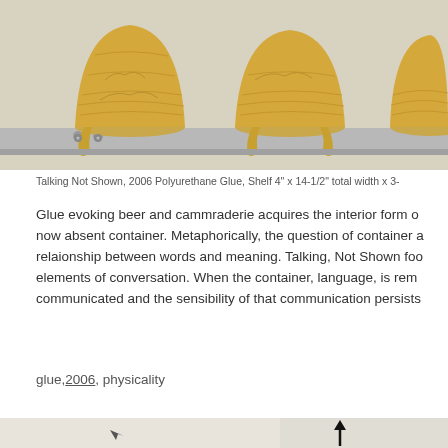[Figure (photo): Three amber-colored polyurethane glue sculptures resembling upturned cups or containers, sitting on a shelf. The glue has foam-like texture, golden-yellow in color, sitting on a light gray shelf with visible screws.]
Talking Not Shown, 2006 Polyurethane Glue, Shelf 4" x 14-1/2" total width x 3-
Glue evoking beer and cammraderie acquires the interior form o now absent container. Metaphorically, the question of container a relaionship between words and meaning. Talking, Not Shown foo elements of conversation. When the container, language, is rem communicated and the sensibility of that communication persists
glue,2006, physicality
[Figure (photo): Partial view of another artwork — white canvas or paper with a black upward arrow, shown at the bottom of the page.]